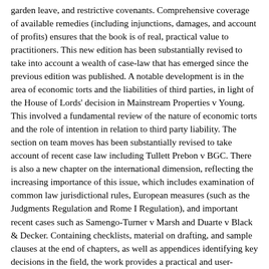garden leave, and restrictive covenants. Comprehensive coverage of available remedies (including injunctions, damages, and account of profits) ensures that the book is of real, practical value to practitioners. This new edition has been substantially revised to take into account a wealth of case-law that has emerged since the previous edition was published. A notable development is in the area of economic torts and the liabilities of third parties, in light of the House of Lords' decision in Mainstream Properties v Young. This involved a fundamental review of the nature of economic torts and the role of intention in relation to third party liability. The section on team moves has been substantially revised to take account of recent case law including Tullett Prebon v BGC. There is also a new chapter on the international dimension, reflecting the increasing importance of this issue, which includes examination of common law jurisdictional rules, European measures (such as the Judgments Regulation and Rome I Regulation), and important recent cases such as Samengo-Turner v Marsh and Duarte v Black & Decker. Containing checklists, material on drafting, and sample clauses at the end of chapters, as well as appendices identifying key decisions in the field, the work provides a practical and user-friendly guide to employment covenants. Occasional papers from the authors updating the contents of the book , will appear on the Blackstone Chambers website at http://www.blackstonechambers.com/practice_areas/employment.html.